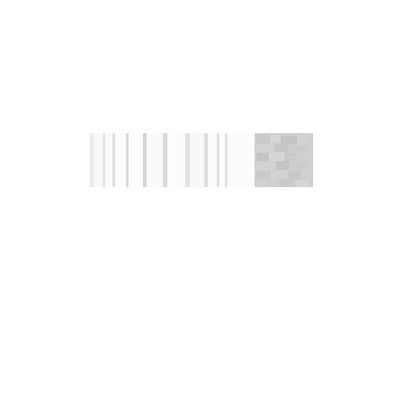[Figure (photo): A horizontal banner-style photograph showing architectural elements: white columns or pillars on the left and center portion, with a textured stone or rock surface visible on the right side. The image is washed out and very light/high-key in appearance.]